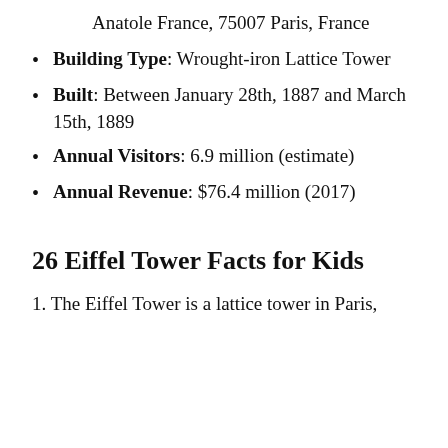Anatole France, 75007 Paris, France
Building Type: Wrought-iron Lattice Tower
Built: Between January 28th, 1887 and March 15th, 1889
Annual Visitors: 6.9 million (estimate)
Annual Revenue: $76.4 million (2017)
26 Eiffel Tower Facts for Kids
1. The Eiffel Tower is a lattice tower in Paris,